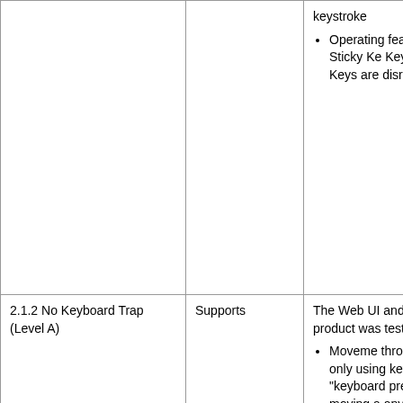| Criteria | Conformance Level | Remarks and Explanations |
| --- | --- | --- |
|  |  | keystrokes
• Operating features Sticky Keys, Keys and Keys are disrupted |
| 2.1.2 No Keyboard Trap (Level A) | Supports | The Web UI and No product was tested t
• Movement through d only using keyboard "keyboard prevents moving a any contr |
| 2.1.4 Character Key Shortcuts (Level A) | Not Supported | This product has no evaluated for this cr |
|  |  | The Web UI and No |